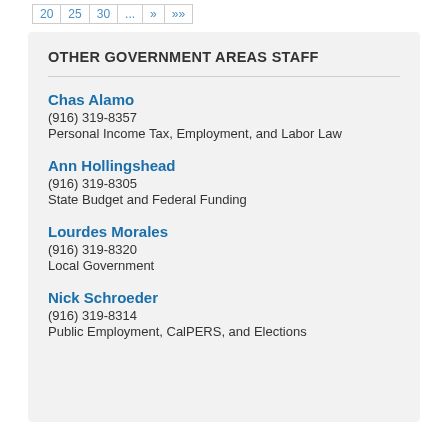20  25  30  ...  »  »»
OTHER GOVERNMENT AREAS STAFF
Chas Alamo
(916) 319-8357
Personal Income Tax, Employment, and Labor Law
Ann Hollingshead
(916) 319-8305
State Budget and Federal Funding
Lourdes Morales
(916) 319-8320
Local Government
Nick Schroeder
(916) 319-8314
Public Employment, CalPERS, and Elections